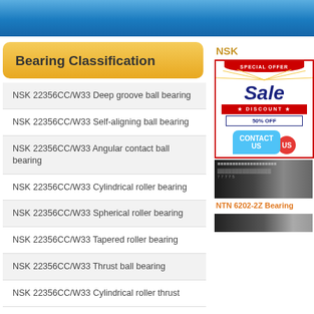Bearing Classification
NSK 22356CC/W33 Deep groove ball bearing
NSK 22356CC/W33 Self-aligning ball bearing
NSK 22356CC/W33 Angular contact ball bearing
NSK 22356CC/W33 Cylindrical roller bearing
NSK 22356CC/W33 Spherical roller bearing
NSK 22356CC/W33 Tapered roller bearing
NSK 22356CC/W33 Thrust ball bearing
NSK 22356CC/W33 Cylindrical roller thrust
[Figure (infographic): Special Offer Sale Discount 50% OFF Contact Us advertisement banner with red and blue colors]
NTN 6202-2Z Bearing